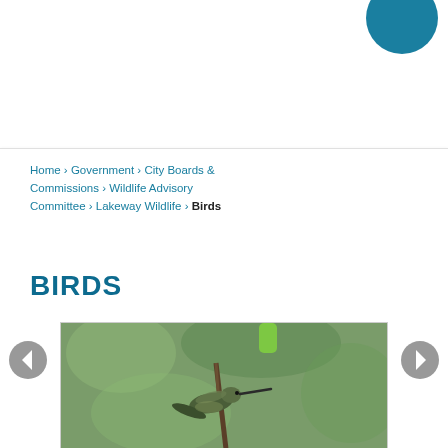[Figure (other): Partial teal circle logo in top right corner]
Home › Government › City Boards & Commissions › Wildlife Advisory Committee › Lakeway Wildlife › Birds
BIRDS
[Figure (photo): A hummingbird perched on a branch, shown against a green blurred background. A green feeder is visible at the top.]